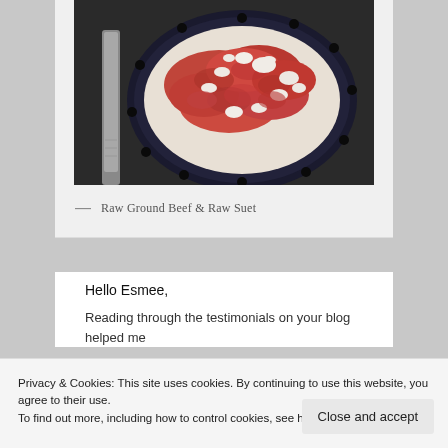[Figure (photo): A dark-colored decorative bowl containing raw ground beef mixed with raw suet (white fat pieces), with a knife/utensil visible to the left, on a dark background.]
— Raw Ground Beef & Raw Suet
Hello Esmee,
Reading through the testimonials on your blog helped me
Privacy & Cookies: This site uses cookies. By continuing to use this website, you agree to their use.
To find out more, including how to control cookies, see here: Cookie Policy
Close and accept